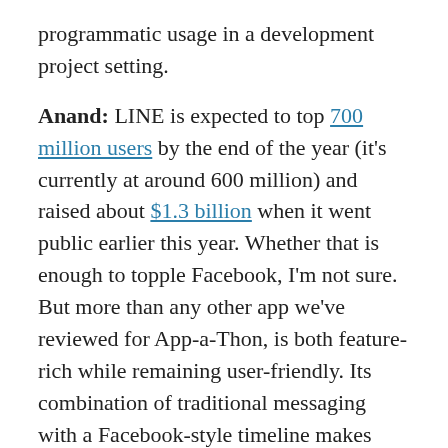programmatic usage in a development project setting.
Anand: LINE is expected to top 700 million users by the end of the year (it's currently at around 600 million) and raised about $1.3 billion when it went public earlier this year. Whether that is enough to topple Facebook, I'm not sure. But more than any other app we've reviewed for App-a-Thon, is both feature-rich while remaining user-friendly. Its combination of traditional messaging with a Facebook-style timeline makes Line super addictive. And as we know, addictive = user retention = ad money = profits. The official accounts are also a super way to create and distribute content, and the fact that both Paul McCartney and Taylor Swift have official